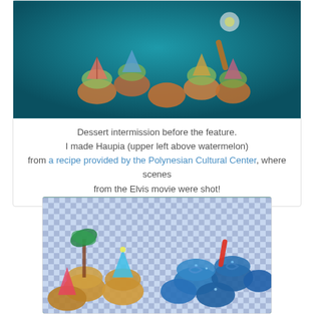[Figure (photo): Photo of tropical-themed cupcakes with colorful cocktail umbrellas and decorations on a dark teal background]
Dessert intermission before the feature.
I made Haupia (upper left above watermelon)
from a recipe provided by the Polynesian Cultural Center, where scenes from the Elvis movie were shot!
[Figure (photo): Photo of cupcakes on a blue gingham tablecloth — golden cupcakes with tropical decorations on the left and blue-frosted cupcakes with sparkles and surf decorations on the right]